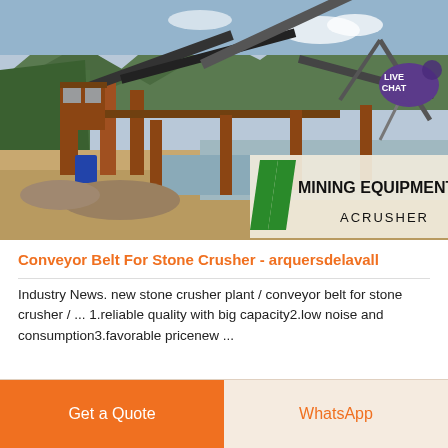[Figure (photo): Mining equipment / stone crusher plant with conveyor belts near a river, surrounded by green mountains. Overlay logo in bottom-right corner reads 'MINING EQUIPMENT ACRUSHER' with green diagonal stripes. Live Chat bubble visible in top-right corner.]
Conveyor Belt For Stone Crusher - arquersdelavall
Industry News. new stone crusher plant / conveyor belt for stone crusher / ... 1.reliable quality with big capacity2.low noise and consumption3.favorable pricenew ...
Get a Quote | WhatsApp